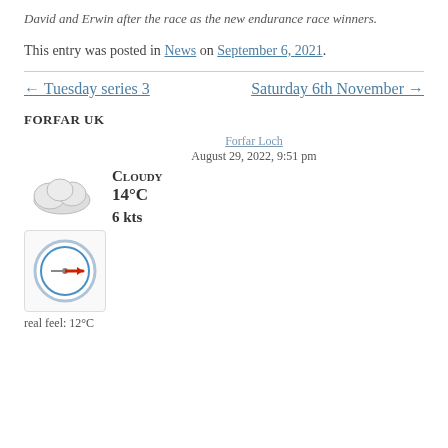David and Erwin after the race as the new endurance race winners.
This entry was posted in News on September 6, 2021.
← Tuesday series 3    Saturday 6th November →
FORFAR UK
[Figure (infographic): Weather widget showing Forfar Loch weather: Cloudy, 14°C, 6 kts wind, August 29, 2022, 9:51 pm]
real feel: 12°C